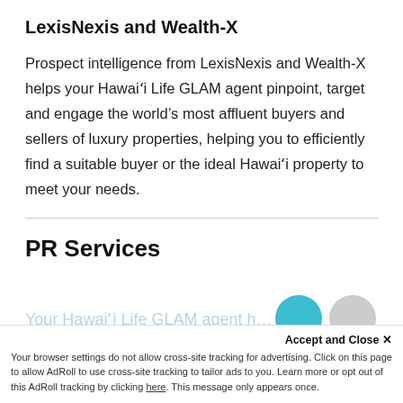LexisNexis and Wealth-X
Prospect intelligence from LexisNexis and Wealth-X helps your Hawaiʻi Life GLAM agent pinpoint, target and engage the world’s most affluent buyers and sellers of luxury properties, helping you to efficiently find a suitable buyer or the ideal Hawaiʻi property to meet your needs.
PR Services
Your Hawaiʻi Life GLAM agent h…
Accept and Close ×
Your browser settings do not allow cross-site tracking for advertising. Click on this page to allow AdRoll to use cross-site tracking to tailor ads to you. Learn more or opt out of this AdRoll tracking by clicking here. This message only appears once.